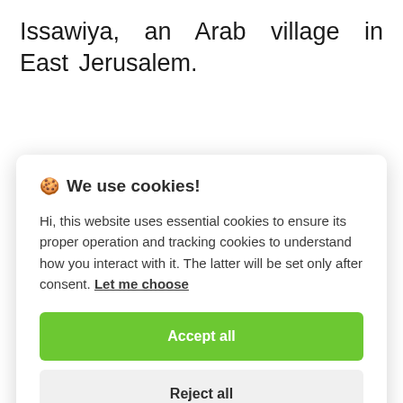Issawiya, an Arab village in East Jerusalem.
🍪 We use cookies!
Hi, this website uses essential cookies to ensure its proper operation and tracking cookies to understand how you interact with it. The latter will be set only after consent. Let me choose
Accept all
Reject all